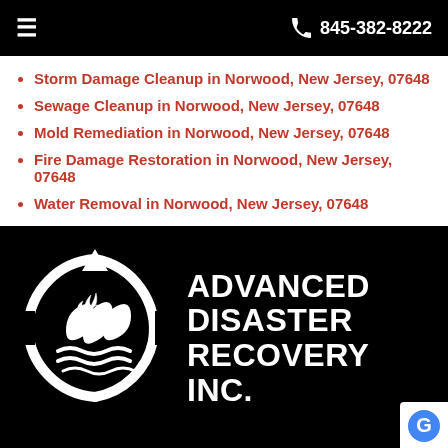≡   845-382-8222
Storm Damage Cleanup in Norwood, New Jersey, 07648
Sewage Cleanup in Norwood, New Jersey, 07648
Mold Remediation in Norwood, New Jersey, 07648
Fire Damage Restoration in Norwood, New Jersey, 07648
Water Removal in Norwood, New Jersey, 07648
[Figure (logo): Advanced Disaster Recovery Inc. logo: circular arrow icon with water/fire droplet symbols and waves, white on black, with bold white text reading ADVANCED DISASTER RECOVERY INC.]
💬 LIVE CHAT   📱 TEXT US